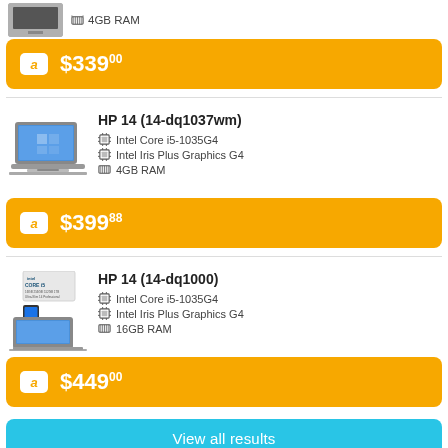4GB RAM
$339.00
HP 14 (14-dq1037wm)
Intel Core i5-1035G4
Intel Iris Plus Graphics G4
4GB RAM
$399.88
HP 14 (14-dq1000)
Intel Core i5-1035G4
Intel Iris Plus Graphics G4
16GB RAM
$449.00
View all results